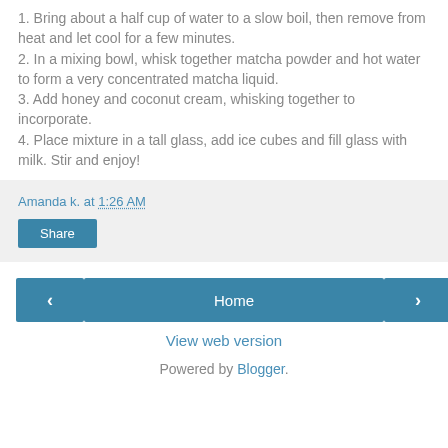1. Bring about a half cup of water to a slow boil, then remove from heat and let cool for a few minutes.
2. In a mixing bowl, whisk together matcha powder and hot water to form a very concentrated matcha liquid.
3. Add honey and coconut cream, whisking together to incorporate.
4. Place mixture in a tall glass, add ice cubes and fill glass with milk. Stir and enjoy!
Amanda k. at 1:26 AM
Share
Home
View web version
Powered by Blogger.